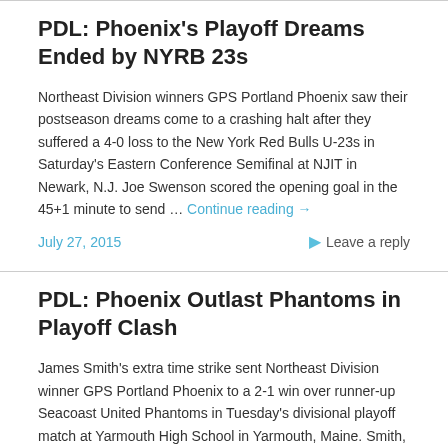PDL: Phoenix's Playoff Dreams Ended by NYRB 23s
Northeast Division winners GPS Portland Phoenix saw their postseason dreams come to a crashing halt after they suffered a 4-0 loss to the New York Red Bulls U-23s in Saturday's Eastern Conference Semifinal at NJIT in Newark, N.J. Joe Swenson scored the opening goal in the 45+1 minute to send … Continue reading →
July 27, 2015    Leave a reply
PDL: Phoenix Outlast Phantoms in Playoff Clash
James Smith's extra time strike sent Northeast Division winner GPS Portland Phoenix to a 2-1 win over runner-up Seacoast United Phantoms in Tuesday's divisional playoff match at Yarmouth High School in Yarmouth, Maine. Smith, who entered the match in the 80th